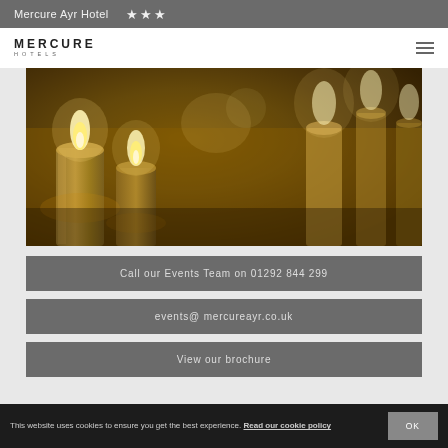Mercure Ayr Hotel ★★★
[Figure (logo): Mercure Hotels logo with MERCURE text and HOTELS subtext]
[Figure (photo): Close-up photograph of lit candles with warm golden bokeh background]
Call our Events Team on 01292 844 299
events@ mercureayr.co.uk
View our brochure
This website uses cookies to ensure you get the best experience. Read our cookie policy  OK